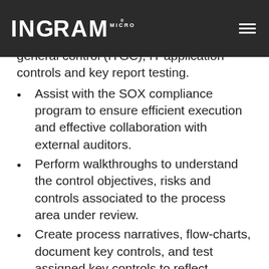Ingram Micro
general control (ITGC), IT application controls and key report testing.
Assist with the SOX compliance program to ensure efficient execution and effective collaboration with external auditors.
Perform walkthroughs to understand the control objectives, risks and controls associated to the process area under review.
Create process narratives, flow-charts, document key controls, and test assigned key controls to reflect processes are designed and operating effectively.
Develop and/or review audit comments to ensure that they are properly supported and consistent with materiality